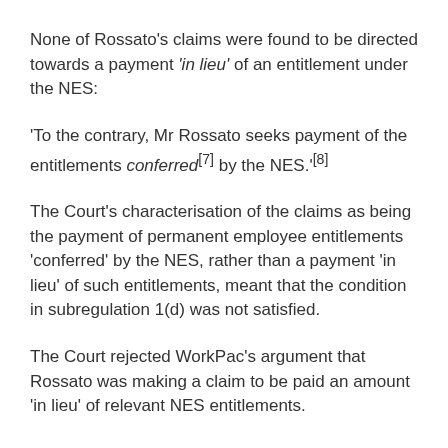None of Rossato's claims were found to be directed towards a payment 'in lieu' of an entitlement under the NES:
'To the contrary, Mr Rossato seeks payment of the entitlements conferred[7] by the NES.'[8]
The Court's characterisation of the claims as being the payment of permanent employee entitlements 'conferred' by the NES, rather than a payment 'in lieu' of such entitlements, meant that the condition in subregulation 1(d) was not satisfied.
The Court rejected WorkPac's argument that Rossato was making a claim to be paid an amount 'in lieu' of relevant NES entitlements.